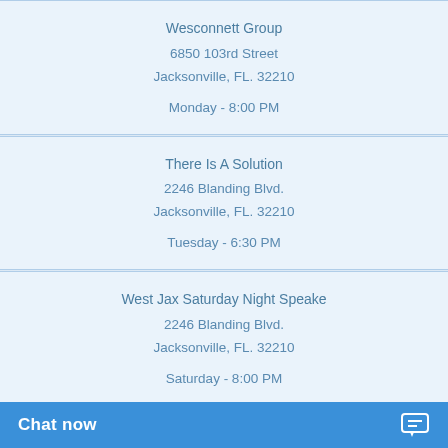Wesconnett Group
6850 103rd Street
Jacksonville, FL. 32210

Monday - 8:00 PM
There Is A Solution
2246 Blanding Blvd.
Jacksonville, FL. 32210

Tuesday - 6:30 PM
West Jax Saturday Night Speake
2246 Blanding Blvd.
Jacksonville, FL. 32210

Saturday - 8:00 PM
West Side Group
4615 Lexington Ave
Jacksonville, FL. 32210

Monday - 8:00 AM
Tuesday - 8:00 AM
Chat now